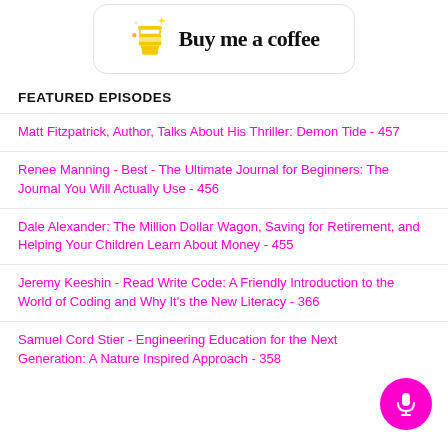[Figure (logo): Buy Me a Coffee banner with coffee cup icon and hand-lettered text 'Buy me a coffee']
FEATURED EPISODES
Matt Fitzpatrick, Author, Talks About His Thriller: Demon Tide - 457
Renee Manning - Best - The Ultimate Journal for Beginners: The Journal You Will Actually Use - 456
Dale Alexander: The Million Dollar Wagon, Saving for Retirement, and Helping Your Children Learn About Money - 455
Jeremy Keeshin - Read Write Code: A Friendly Introduction to the World of Coding and Why It's the New Literacy - 366
Samuel Cord Stier - Engineering Education for the Next Generation: A Nature Inspired Approach - 358